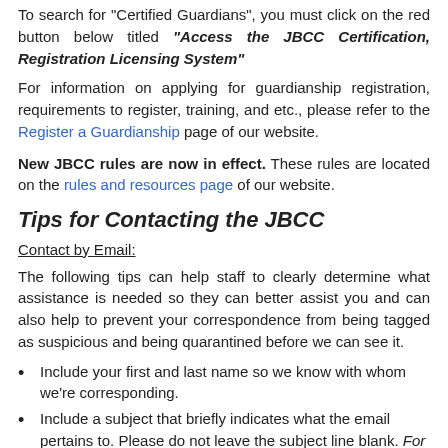To search for "Certified Guardians", you must click on the red button below titled "Access the JBCC Certification, Registration Licensing System"
For information on applying for guardianship registration, requirements to register, training, and etc., please refer to the Register a Guardianship page of our website.
New JBCC rules are now in effect. These rules are located on the rules and resources page of our website.
Tips for Contacting the JBCC
Contact by Email:
The following tips can help staff to clearly determine what assistance is needed so they can better assist you and can also help to prevent your correspondence from being tagged as suspicious and being quarantined before we can see it.
Include your first and last name so we know with whom we’re corresponding.
Include a subject that briefly indicates what the email pertains to. Please do not leave the subject line blank. For example, good subjects would be “Renewal help for Jane Doe”, or “Certification Inquiry